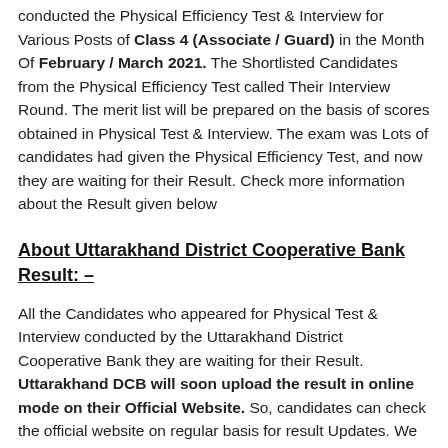conducted the Physical Efficiency Test & Interview for Various Posts of Class 4 (Associate / Guard) in the Month Of February / March 2021. The Shortlisted Candidates from the Physical Efficiency Test called Their Interview Round. The merit list will be prepared on the basis of scores obtained in Physical Test & Interview. The exam was Lots of candidates had given the Physical Efficiency Test, and now they are waiting for their Result. Check more information about the Result given below
About Uttarakhand District Cooperative Bank Result: –
All the Candidates who appeared for Physical Test & Interview conducted by the Uttarakhand District Cooperative Bank they are waiting for their Result. Uttarakhand DCB will soon upload the result in online mode on their Official Website. So, candidates can check the official website on regular basis for result Updates. We